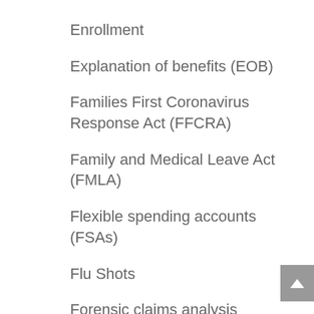Enrollment
Explanation of benefits (EOB)
Families First Coronavirus Response Act (FFCRA)
Family and Medical Leave Act (FMLA)
Flexible spending accounts (FSAs)
Flu Shots
Forensic claims analysis
Forms
Formularies
FSA Store